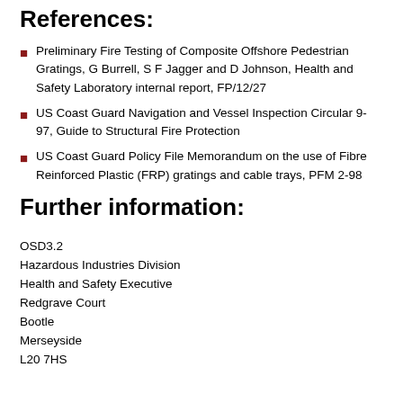References:
Preliminary Fire Testing of Composite Offshore Pedestrian Gratings, G Burrell, S F Jagger and D Johnson, Health and Safety Laboratory internal report, FP/12/27
US Coast Guard Navigation and Vessel Inspection Circular 9-97, Guide to Structural Fire Protection
US Coast Guard Policy File Memorandum on the use of Fibre Reinforced Plastic (FRP) gratings and cable trays, PFM 2-98
Further information:
OSD3.2
Hazardous Industries Division
Health and Safety Executive
Redgrave Court
Bootle
Merseyside
L20 7HS